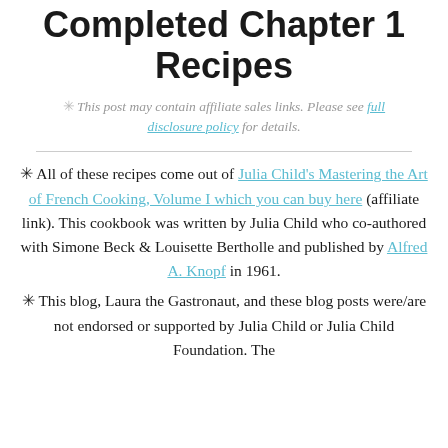Completed Chapter 1 Recipes
✳ This post may contain affiliate sales links. Please see full disclosure policy for details.
✳ All of these recipes come out of Julia Child's Mastering the Art of French Cooking, Volume I which you can buy here (affiliate link). This cookbook was written by Julia Child who co-authored with Simone Beck & Louisette Bertholle and published by Alfred A. Knopf in 1961.
✳ This blog, Laura the Gastronaut, and these blog posts were/are not endorsed or supported by Julia Child or Julia Child Foundation. The